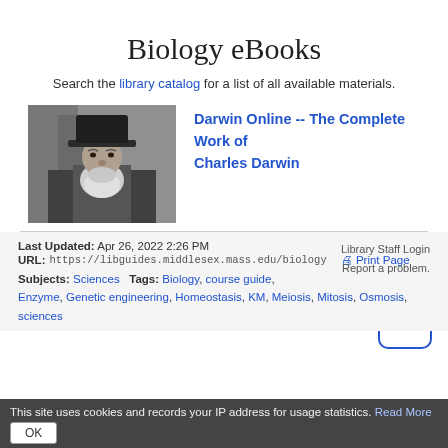Biology eBooks
Search the library catalog for a list of all available materials.
[Figure (photo): Black and white portrait photograph of Charles Darwin wearing a hat]
Darwin Online -- The Complete Work of Charles Darwin
Last Updated: Apr 26, 2022 2:26 PM
URL: https://libguides.middlesex.mass.edu/biology
Print Page
Library Staff Login
Report a problem.
Subjects: Sciences   Tags: Biology, course guide, Enzyme, Genetic engineering, Homeostasis, KM, Meiosis, Mitosis, Osmosis, sciences
This site uses cookies and records your IP address for usage statistics. Read More
OK